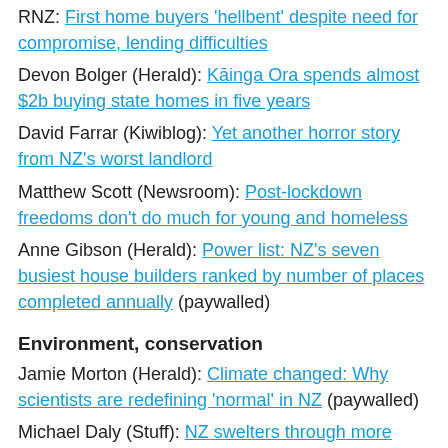RNZ: First home buyers 'hellbent' despite need for compromise, lending difficulties
Devon Bolger (Herald): Kāinga Ora spends almost $2b buying state homes in five years
David Farrar (Kiwiblog): Yet another horror story from NZ's worst landlord
Matthew Scott (Newsroom): Post-lockdown freedoms don't do much for young and homeless
Anne Gibson (Herald): Power list: NZ's seven busiest house builders ranked by number of places completed annually (paywalled)
Environment, conservation
Jamie Morton (Herald): Climate changed: Why scientists are redefining 'normal' in NZ (paywalled)
Michael Daly (Stuff): NZ swelters through more extreme